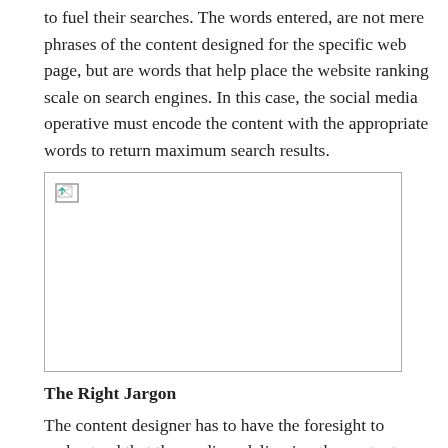to fuel their searches. The words entered, are not mere phrases of the content designed for the specific web page, but are words that help place the website ranking scale on search engines. In this case, the social media operative must encode the content with the appropriate words to return maximum search results.
[Figure (photo): A broken/missing image placeholder represented by a small broken image icon in the top-left corner of a white rectangle with a border.]
The Right Jargon
The content designer has to have the foresight to understand that the medium delivering the content should be accessible to all, in terms of readability and comprehension. Thus he cannot choose to bombard the text with heavy-sounding words to garner aesthetic language appeal. The vocabulary needs to be simple